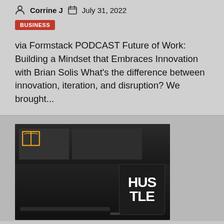Corrine J   July 31, 2022
BUSINESS
via Formstack PODCAST Future of Work: Building a Mindset that Embraces Innovation with Brian Solis What's the difference between innovation, iteration, and disruption? We brought...
[Figure (photo): Dark-toned photograph of a black mug with 'HUSTLE' written in white script, placed on a dark surface next to a pen, with dark wall panels in the background. A yellow book icon is overlaid in the top-left corner of the image.]